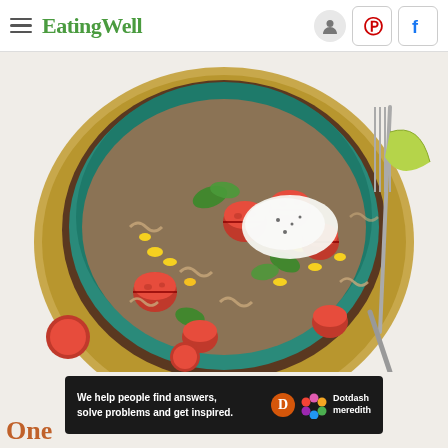EatingWell
[Figure (photo): A teal bowl filled with rotini pasta, ground meat, corn, cherry tomatoes halves, and sour cream dollop with cilantro, served on a gold plate with a fork and lime wedge. Cherry tomatoes scattered on white surface.]
We help people find answers, solve problems and get inspired. Dotdash meredith
One